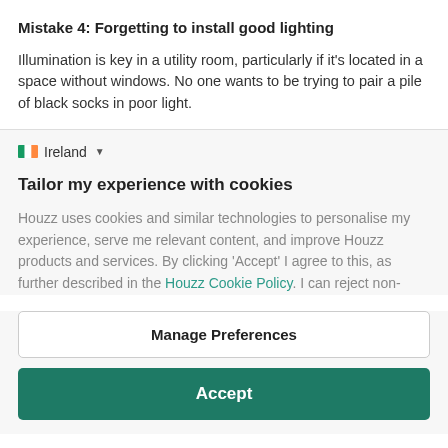Mistake 4: Forgetting to install good lighting
Illumination is key in a utility room, particularly if it's located in a space without windows. No one wants to be trying to pair a pile of black socks in poor light.
Ireland
Tailor my experience with cookies
Houzz uses cookies and similar technologies to personalise my experience, serve me relevant content, and improve Houzz products and services. By clicking 'Accept' I agree to this, as further described in the Houzz Cookie Policy. I can reject non-
Manage Preferences
Accept